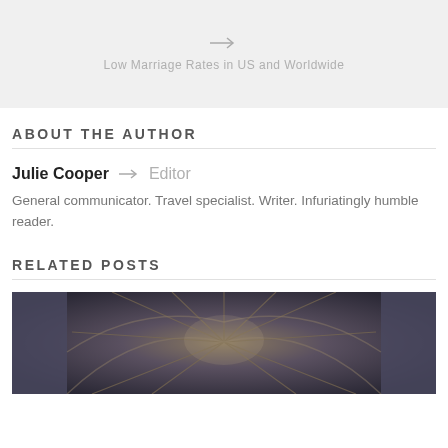[Figure (other): Gray navigation box showing a right arrow and caption 'Low Marriage Rates in US and Worldwide']
ABOUT THE AUTHOR
Julie Cooper → Editor
General communicator. Travel specialist. Writer. Infuriatingly humble reader.
RELATED POSTS
[Figure (photo): Photo of a cathedral ceiling with gothic vaulted arches and ribbed stone work viewed from below]